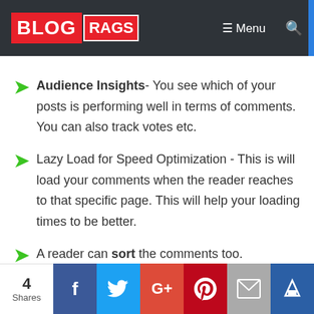BLOG RAGS — Menu [search]
Audience Insights- You see which of your posts is performing well in terms of comments. You can also track votes etc.
Lazy Load for Speed Optimization - This is will load your comments when the reader reaches to that specific page. This will help your loading times to be better.
A reader can sort the comments too.
4 Shares — Facebook, Twitter, Google+, Pinterest, Email, Crown